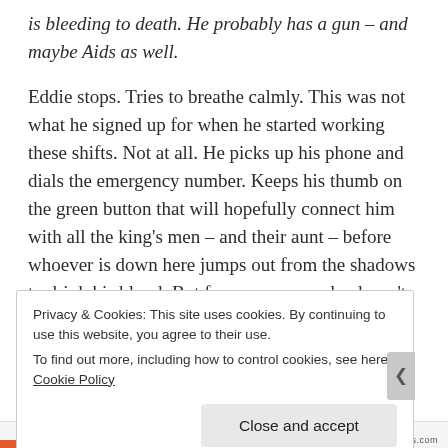is bleeding to death. He probably has a gun – and maybe Aids as well.
Eddie stops. Tries to breathe calmly. This was not what he signed up for when he started working these shifts. Not at all. He picks up his phone and dials the emergency number. Keeps his thumb on the green button that will hopefully connect him with all the king's men – and their aunt – before whoever is down here jumps out from the shadows to drink his blood. But for some reason he doesn't press it.
Privacy & Cookies: This site uses cookies. By continuing to use this website, you agree to their use.
To find out more, including how to control cookies, see here: Cookie Policy
Close and accept